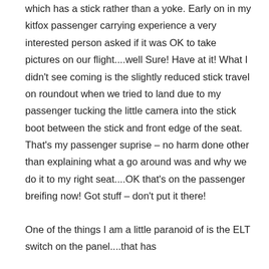which has a stick rather than a yoke. Early on in my kitfox passenger carrying experience a very interested person asked if it was OK to take pictures on our flight....well Sure! Have at it! What I didn't see coming is the slightly reduced stick travel on roundout when we tried to land due to my passenger tucking the little camera into the stick boot between the stick and front edge of the seat. That's my passenger suprise – no harm done other than explaining what a go around was and why we do it to my right seat....OK that's on the passenger breifing now! Got stuff – don't put it there!
One of the things I am a little paranoid of is the ELT switch on the panel....that has